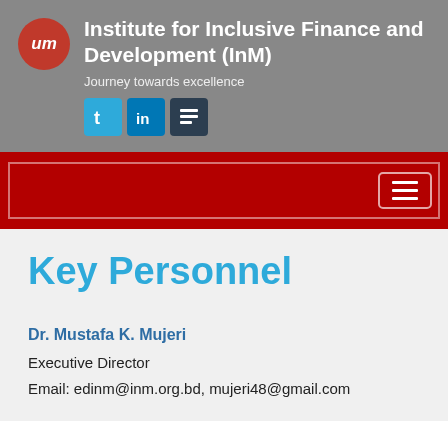Institute for Inclusive Finance and Development (InM)
Journey towards excellence
[Figure (logo): InM logo - red circle with 'um' text in white, followed by social media icons for Twitter, LinkedIn, and a third platform]
Key Personnel
Dr. Mustafa K. Mujeri
Executive Director
Email: edinm@inm.org.bd, mujeri48@gmail.com